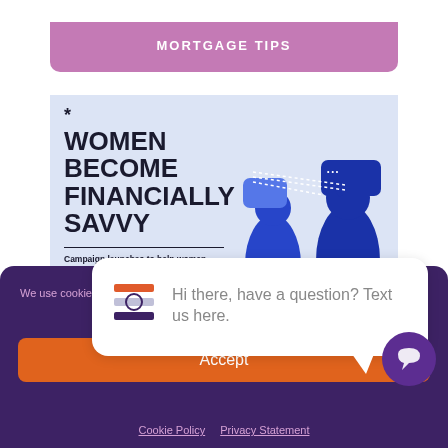MORTGAGE TIPS
[Figure (infographic): Infographic with headline 'WOMEN BECOME FINANCIALLY SAVVY', subtext 'Campaign launches to help women become more financially savvy', email 'ADIAMONDMORTGAGE@GMAIL.COM', and illustrations of people with speech bubbles]
close
Hi there, have a question? Text us here.
We use cookies to opt...
Accept
Cookie Policy   Privacy Statement